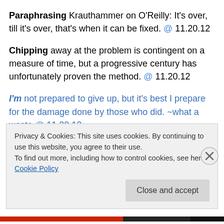Paraphrasing Krauthammer on O'Reilly: It's over, till it's over, that's when it can be fixed. @ 11.20.12
Chipping away at the problem is contingent on a measure of time, but a progressive century has unfortunately proven the method. @ 11.20.12
I'm not prepared to give up, but it's best I prepare for the damage done by those who did. ~what a waste @ 11.20.12
I think obama's re-coronation drills down to two things
Privacy & Cookies: This site uses cookies. By continuing to use this website, you agree to their use. To find out more, including how to control cookies, see here: Cookie Policy